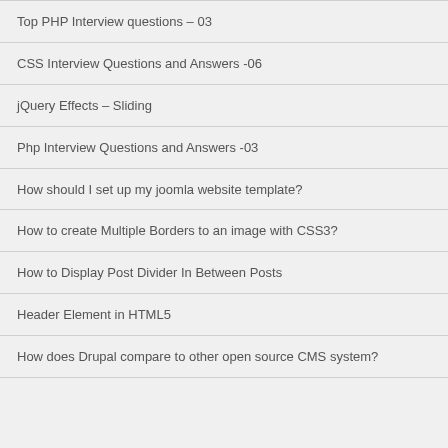Top PHP Interview questions – 03
CSS Interview Questions and Answers -06
jQuery Effects – Sliding
Php Interview Questions and Answers -03
How should I set up my joomla website template?
How to create Multiple Borders to an image with CSS3?
How to Display Post Divider In Between Posts
Header Element in HTML5
How does Drupal compare to other open source CMS system?